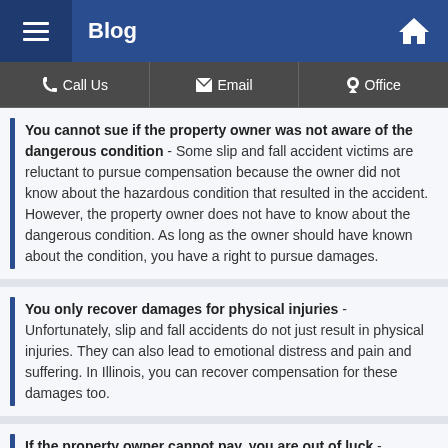Blog
Call Us | Email | Office
You cannot sue if the property owner was not aware of the dangerous condition - Some slip and fall accident victims are reluctant to pursue compensation because the owner did not know about the hazardous condition that resulted in the accident. However, the property owner does not have to know about the dangerous condition. As long as the owner should have known about the condition, you have a right to pursue damages.
You only recover damages for physical injuries - Unfortunately, slip and fall accidents do not just result in physical injuries. They can also lead to emotional distress and pain and suffering. In Illinois, you can recover compensation for these damages too.
If the property owner cannot pay, you are out of luck - Sometimes property owners may tell slip and fall victims that they cannot afford to pay for their injuries out-of-pocket. However, most of these owners are required to